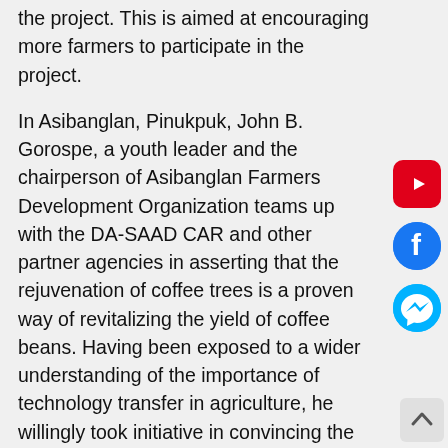the project. This is aimed at encouraging more farmers to participate in the project.
In Asibanglan, Pinukpuk, John B. Gorospe, a youth leader and the chairperson of Asibanglan Farmers Development Organization teams up with the DA-SAAD CAR and other partner agencies in asserting that the rejuvenation of coffee trees is a proven way of revitalizing the yield of coffee beans. Having been exposed to a wider understanding of the importance of technology transfer in agriculture, he willingly took initiative in convincing the organization he handles by opening his coffee plantation for demonstration.
He also encouraged the association members by citing an earning coffee farm he has visited in the province where the trees already yield